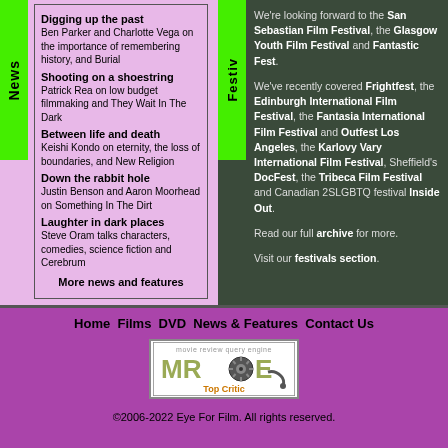Digging up the past - Ben Parker and Charlotte Vega on the importance of remembering history, and Burial
Shooting on a shoestring - Patrick Rea on low budget filmmaking and They Wait In The Dark
Between life and death - Keishi Kondo on eternity, the loss of boundaries, and New Religion
Down the rabbit hole - Justin Benson and Aaron Moorhead on Something In The Dirt
Laughter in dark places - Steve Oram talks characters, comedies, science fiction and Cerebrum
More news and features
We're looking forward to the San Sebastian Film Festival, the Glasgow Youth Film Festival and Fantastic Fest. We've recently covered Frightfest, the Edinburgh International Film Festival, the Fantasia International Film Festival and Outfest Los Angeles, the Karlovy Vary International Film Festival, Sheffield's DocFest, the Tribeca Film Festival and Canadian 2SLGBTQ festival Inside Out. Read our full archive for more. Visit our festivals section.
Home Films DVD News & Features Contact Us
[Figure (logo): Movie Review Query Engine MRQE Top Critic logo badge]
©2006-2022 Eye For Film. All rights reserved.